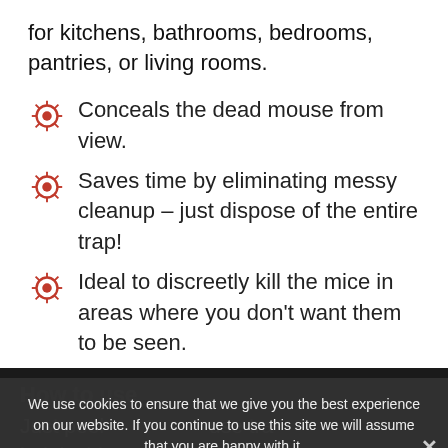for kitchens, bathrooms, bedrooms, pantries, or living rooms.
Conceals the dead mouse from view.
Saves time by eliminating messy cleanup – just dispose of the entire trap!
Ideal to discreetly kill the mice in areas where you don't want them to be seen.
How to use
Just peel … use tra bait inside, and … counterclockwise till you hear it click. When
We use cookies to ensure that we give you the best experience on our website. If you continue to use this site we will assume that you are happy with it.